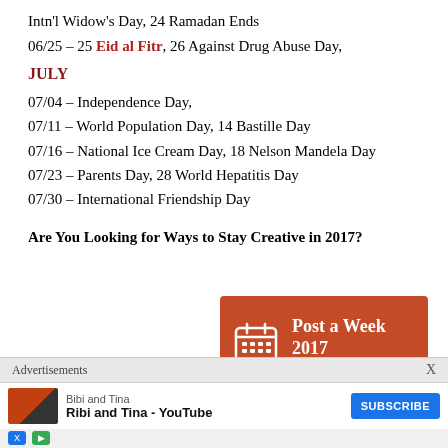Intn'l Widow's Day, 24 Ramadan Ends
06/25 – 25 Eid al Fitr, 26 Against Drug Abuse Day,
JULY
07/04 – Independence Day,
07/11 – World Population Day, 14 Bastille Day
07/16 – National Ice Cream Day, 18 Nelson Mandela Day
07/23 – Parents Day, 28 World Hepatitis Day
07/30 – International Friendship Day
Are You Looking for Ways to Stay Creative in 2017?
[Figure (infographic): Orange badge/button with calendar icon reading 'Post a Week 2017 Blogger']
Join the Daily Post Postaday or Postaweek Challenge...
Advertisements
[Figure (screenshot): Advertisement overlay: Bibi and Tina YouTube channel subscribe banner]